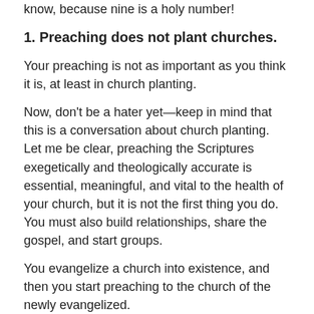know, because nine is a holy number!
1. Preaching does not plant churches.
Your preaching is not as important as you think it is, at least in church planting.
Now, don’t be a hater yet—keep in mind that this is a conversation about church planting. Let me be clear, preaching the Scriptures exegetically and theologically accurate is essential, meaningful, and vital to the health of your church, but it is not the first thing you do. You must also build relationships, share the gospel, and start groups.
You evangelize a church into existence, and then you start preaching to the church of the newly evangelized.